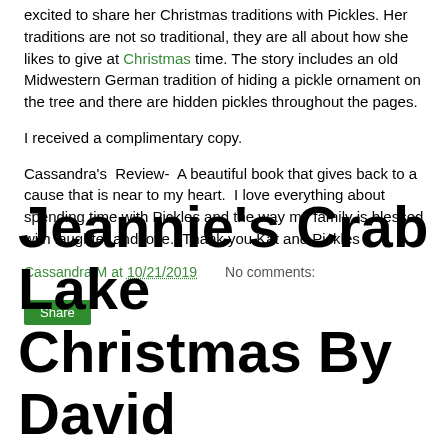excited to share her Christmas traditions with Pickles. Her traditions are not so traditional, they are all about how she likes to give at Christmas time. The story includes an old Midwestern German tradition of hiding a pickle ornament on the tree and there are hidden pickles throughout the pages.
I received a complimentary copy.
Cassandra's  Review-  A beautiful book that gives back to a cause that is near to my heart.  I love everything about spending time with Pickles and the way my family is blessed with laughter and love.  Thank you Kat and Pickles
Cassandra M at 10/21/2019    No comments:
Jeannie's Crab Lake Christmas By David